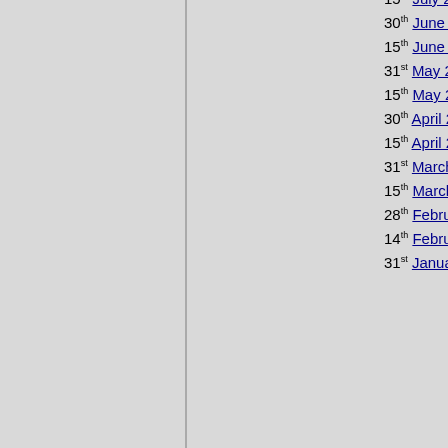15th July 2010 | Vol.17 No.1
30th June 2010 | Vol.16 No.2
15th June 2010 | Vol.16 No.1
31st May 2010 | Vol.15 No.2
15th May 2010 | Vol.15 No.1
30th April 2010| Vol.14 No.2
15th April 2010| Vol.14 No.1
31st March 2010 | Vol.13 No2
15th March 2010 | Vol.13 No1
28th February 2010 | Vol.12 No.
14th February 2010 | Vol.12 No1
31st January 2010 | Vol.11 No.2